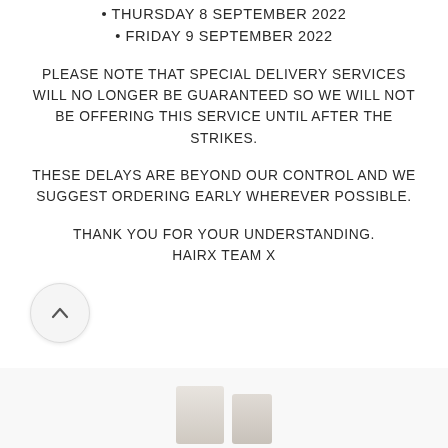• THURSDAY 8 SEPTEMBER 2022
• FRIDAY 9 SEPTEMBER 2022
PLEASE NOTE THAT SPECIAL DELIVERY SERVICES WILL NO LONGER BE GUARANTEED SO WE WILL NOT BE OFFERING THIS SERVICE UNTIL AFTER THE STRIKES.
THESE DELAYS ARE BEYOND OUR CONTROL AND WE SUGGEST ORDERING EARLY WHEREVER POSSIBLE.
THANK YOU FOR YOUR UNDERSTANDING. HAIRX TEAM X
[Figure (other): A circular scroll-up button (chevron/caret icon) on a light grey background, positioned at bottom left of the page.]
[Figure (photo): Partial view of product bottles/containers at the very bottom of the page, cropped.]